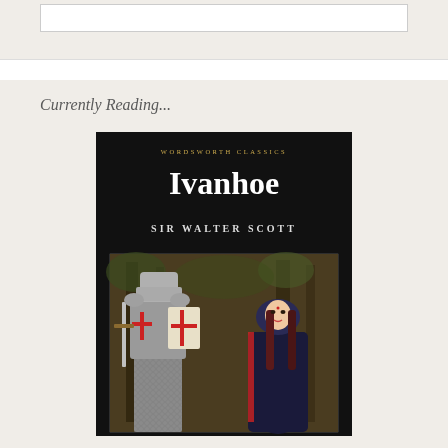Currently Reading...
[Figure (illustration): Book cover of Ivanhoe by Sir Walter Scott, Wordsworth Classics edition. Black background with gold 'WORDSWORTH CLASSICS' text at top, large white 'Ivanhoe' title, 'SIR WALTER SCOTT' author name in white spaced caps, and illustration showing a medieval knight in chainmail armor with a sword and shield bearing a red cross, standing next to a woman in a dark blue hooded cloak with red lining and long dark hair.]